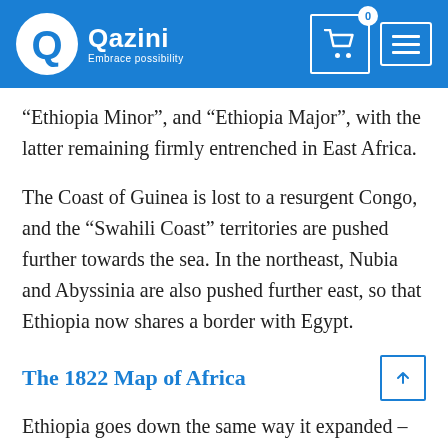Qazini — Embrace possibility
“Ethiopia Minor”, and “Ethiopia Major”, with the latter remaining firmly entrenched in East Africa.
The Coast of Guinea is lost to a resurgent Congo, and the “Swahili Coast” territories are pushed further towards the sea. In the northeast, Nubia and Abyssinia are also pushed further east, so that Ethiopia now shares a border with Egypt.
The 1822 Map of Africa
Ethiopia goes down the same way it expanded – snap quick. Less than a century after the 18th-